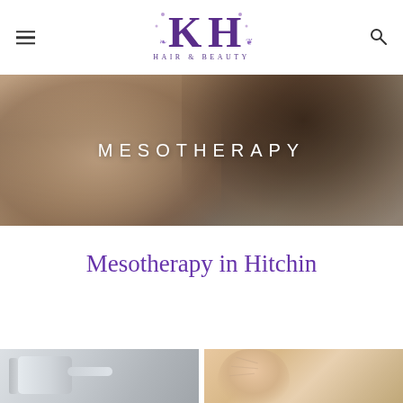[Figure (logo): KH Hair & Beauty logo with ornate KH monogram in purple and decorative flourishes]
[Figure (photo): Banner photo of a glamorous woman with upswept brunette hair and smoky eye makeup, with 'MESOTHERAPY' text overlay in white letters]
Mesotherapy in Hitchin
[Figure (photo): Two photos side by side: left shows a beauty device/tool, right shows a woman's face with markings for mesotherapy treatment]